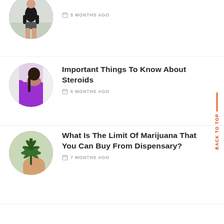[Figure (photo): Circular thumbnail of a man in black t-shirt and shorts outdoors, partially cropped at top]
5 MONTHS AGO
[Figure (photo): Circular thumbnail of a woman in purple top, active/yoga pose]
Important Things To Know About Steroids
6 MONTHS AGO
[Figure (photo): Circular thumbnail of hands holding a marijuana cannabis plant]
What Is The Limit Of Marijuana That You Can Buy From Dispensary?
7 MONTHS AGO